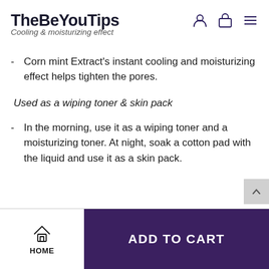TheBeYouTips
Cooling & moisturizing effect
- Corn mint Extract's instant cooling and moisturizing effect helps tighten the pores.
Used as a wiping toner & skin pack
- In the morning, use it as a wiping toner and a moisturizing toner. At night, soak a cotton pad with the liquid and use it as a skin pack.
ADD TO CART
HOME